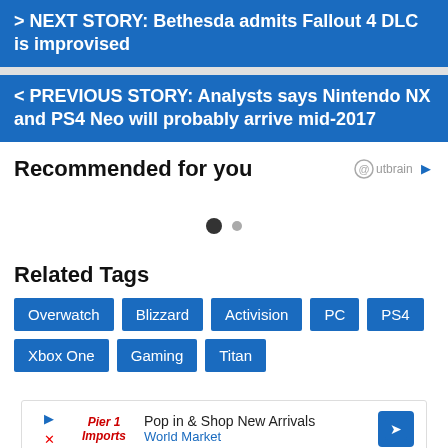> NEXT STORY: Bethesda admits Fallout 4 DLC is improvised
< PREVIOUS STORY: Analysts says Nintendo NX and PS4 Neo will probably arrive mid-2017
Recommended for you
[Figure (other): Outbrain recommendation widget with two navigation dots]
Related Tags
Overwatch
Blizzard
Activision
PC
PS4
Xbox One
Gaming
Titan
[Figure (other): Advertisement banner: Pop in & Shop New Arrivals - World Market]